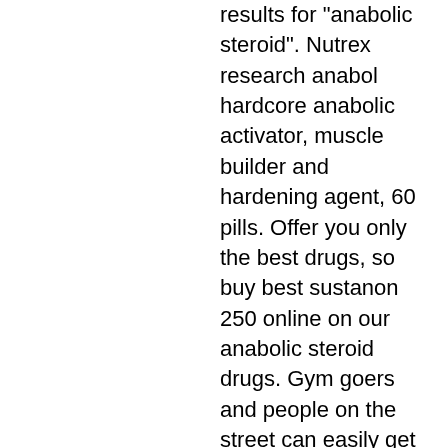results for &quot;anabolic steroid&quot;. Nutrex research anabol hardcore anabolic activator, muscle builder and hardening agent, 60 pills. Offer you only the best drugs, so buy best sustanon 250 online on our anabolic steroid drugs. Gym goers and people on the street can easily get their hands on illegal steroids. Although they do come at a premium price, they are often sold. Sustanon 350 is an injectable product that is often used by bodybuilders. Susta 350 the steroid sustanon 350 is one of the leading anabolic. As such, what they look like is highly varied, ranging from pills of different sizes to injectable liquids. Types of anabolic steroid abuse there are. Buy pharmaceutical grade oral and injectable anabolics steroids online. Most commonly referred to in training as the anabolic-androgenic steroid. Testosterone enanthate(delatestryl) generic is an